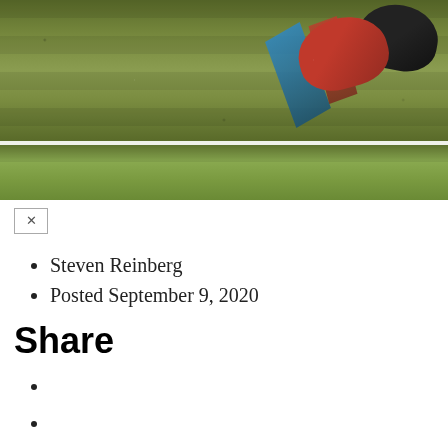[Figure (photo): Football helmets on a grass field, aerial/sideline view showing red and dark helmets with colorful flags on green turf with a white yard line visible]
Steven Reinberg
Posted September 9, 2020
Share
Playing Football at Young Age Doesn't Slow Concussion Recovery in College